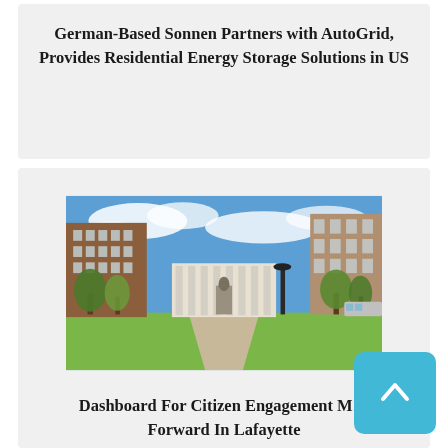German-Based Sonnen Partners with AutoGrid, Provides Residential Energy Storage Solutions in US
[Figure (photo): Outdoor city park scene with a statue, lamp posts, trees, brick buildings, and a blue sky with light clouds in Lafayette.]
Dashboard For Citizen Engagement M… Forward In Lafayette